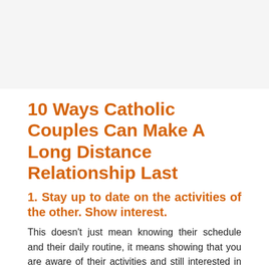[Figure (photo): Top image placeholder area (photo/illustration not visible in detail)]
10 Ways Catholic Couples Can Make A Long Distance Relationship Last
1. Stay up to date on the activities of the other. Show interest.
This doesn't just mean knowing their schedule and their daily routine, it means showing that you are aware of their activities and still interested in what